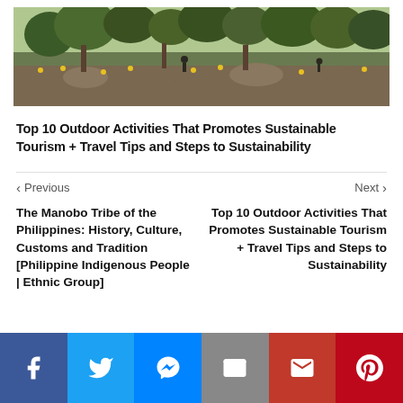[Figure (photo): Outdoor nature scene with wildflowers and rocky terrain, people visible in background among trees]
Top 10 Outdoor Activities That Promotes Sustainable Tourism + Travel Tips and Steps to Sustainability
< Previous   Next >
The Manobo Tribe of the Philippines: History, Culture, Customs and Tradition [Philippine Indigenous People | Ethnic Group]
Top 10 Outdoor Activities That Promotes Sustainable Tourism + Travel Tips and Steps to Sustainability